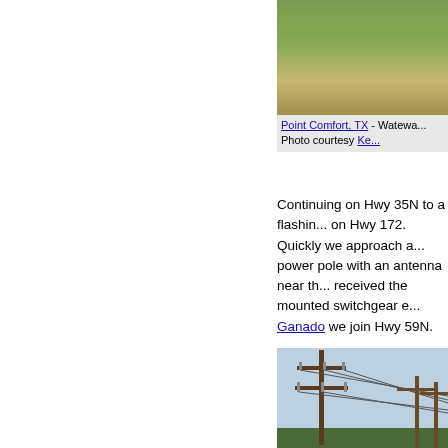[Figure (photo): Photo of grass/field area, partially cropped, Point Comfort TX wastewater related]
Point Comfort, TX - Watewa... Photo courtesy Ke...
Continuing on Hwy 35N to a flashing... on Hwy 172. Quickly we approach a... power pole with an antenna near th... received the mounted switchgear e... Ganado we join Hwy 59N.
[Figure (photo): Photo of power transmission poles along a road with wires, blue sky background, trees on horizon]